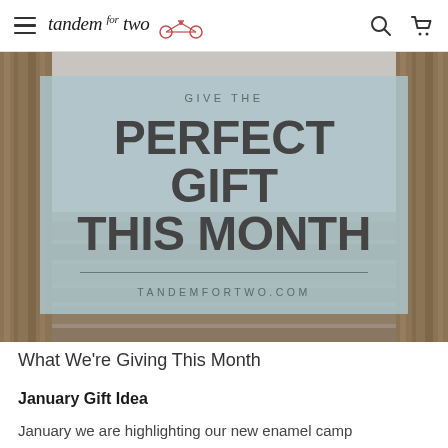tandem for two — navigation bar with hamburger menu, search, and cart icons
[Figure (photo): Hero banner image with rustic wood fence background and semi-transparent light blue overlay containing promotional text: GIVE THE / PERFECT GIFT THIS MONTH / TANDEMFORTWO.COM]
What We're Giving This Month
January Gift Idea
January we are highlighting our new enamel camp